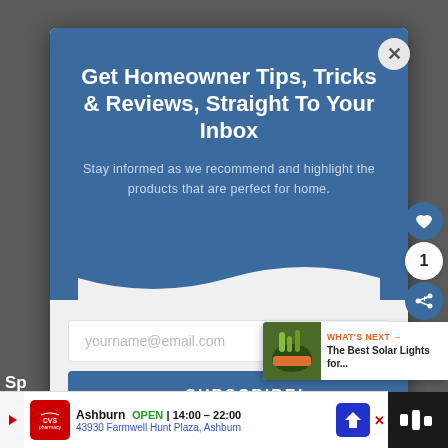Get Homeowner Tips, Tricks & Reviews, Straight To Your Inbox
Stay informed as we recommend and highlight the products that are perfect for home.
yourname@email.com
SUBSCRIBE!
*perfectforhome.com does not share your email with
WHAT'S NEXT → The Best Solar Lights for...
Ashburn  OPEN | 14:00 – 22:00  43930 Farmwell Hunt Plaza, Ashburn